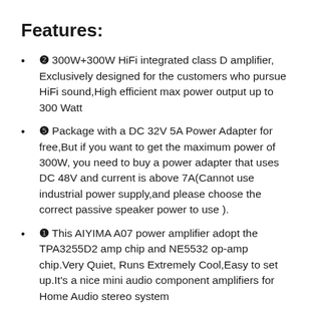Features:
❷ 300W+300W HiFi integrated class D amplifier, Exclusively designed for the customers who pursue HiFi sound,High efficient max power output up to 300 Watt
❺ Package with a DC 32V 5A Power Adapter for free,But if you want to get the maximum power of 300W, you need to buy a power adapter that uses DC 48V and current is above 7A(Cannot use industrial power supply,and please choose the correct passive speaker power to use ).
❶ This AIYIMA A07 power amplifier adopt the TPA3255D2 amp chip and NE5532 op-amp chip.Very Quiet, Runs Extremely Cool,Easy to set up.It's a nice mini audio component amplifiers for Home Audio stereo system
❹ Simple compact design,And the exterior design is delicate and beautiful little amp.It can match with your